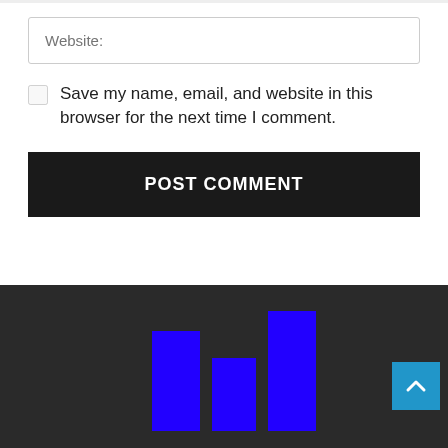Website:
Save my name, email, and website in this browser for the next time I comment.
POST COMMENT
[Figure (logo): Three blue vertical bars of varying heights forming a bar-chart logo icon on dark background, with the text BUSINESSFORTNIGHTLY.COM below]
BUSINESSFORTNIGHTLY.COM